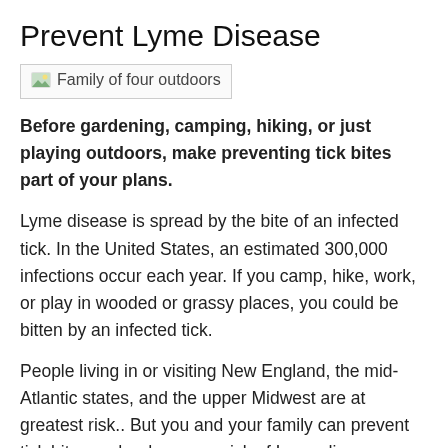Prevent Lyme Disease
[Figure (photo): Family of four outdoors]
Before gardening, camping, hiking, or just playing outdoors, make preventing tick bites part of your plans.
Lyme disease is spread by the bite of an infected tick. In the United States, an estimated 300,000 infections occur each year. If you camp, hike, work, or play in wooded or grassy places, you could be bitten by an infected tick.
People living in or visiting New England, the mid-Atlantic states, and the upper Midwest are at greatest risk.. But you and your family can prevent tick bites and reduce your risk of Lyme disease.
Protect Yourself from Tick Bites
Know where to expect ticks. Blacklegged ticks (the ticks that cause Lyme disease) live in moist and humid environments, particularly in